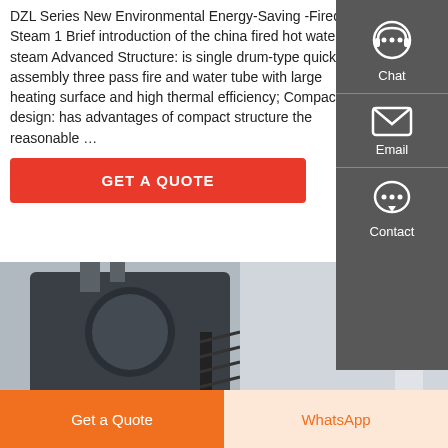DZL Series New Environmental Energy-Saving -Fired Steam 1 Brief introduction of the china fired hot water or steam Advanced Structure: is single drum-type quick assembly three pass fire and water tube with large heating surface and high thermal efficiency; Compact design: has advantages of compact structure the reasonable …
[Figure (other): Red 'GET A QUOTE' button]
[Figure (photo): Two industrial boiler installation photos side by side showing boilers, pipes, stairs and industrial equipment in a factory setting]
[Figure (other): Right sidebar with dark grey background showing Chat, Email, and Contact icons and labels]
[Figure (other): Bottom bar with two buttons: 'Get a Quote' (orange) and 'WhatsApp' (light orange/peach background with orange text)]